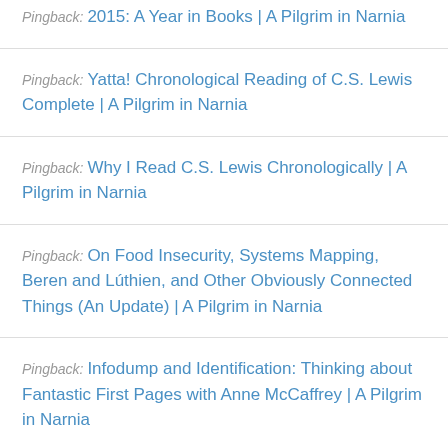Pingback: 2015: A Year in Books | A Pilgrim in Narnia
Pingback: Yatta! Chronological Reading of C.S. Lewis Complete | A Pilgrim in Narnia
Pingback: Why I Read C.S. Lewis Chronologically | A Pilgrim in Narnia
Pingback: On Food Insecurity, Systems Mapping, Beren and Lúthien, and Other Obviously Connected Things (An Update) | A Pilgrim in Narnia
Pingback: Infodump and Identification: Thinking about Fantastic First Pages with Anne McCaffrey | A Pilgrim in Narnia